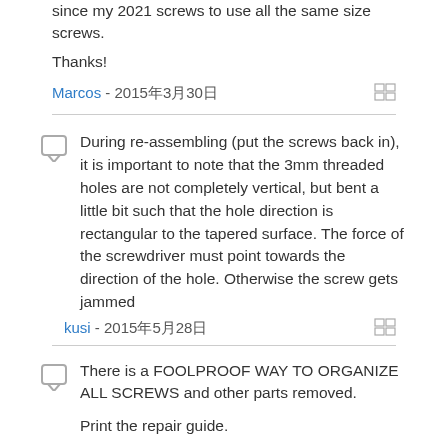since my 2021 screws to use all the same size screws.
Thanks!
Marcos - 2015年3月30日
During re-assembling (put the screws back in), it is important to note that the 3mm threaded holes are not completely vertical, but bent a little bit such that the hole direction is rectangular to the tapered surface. The force of the screwdriver must point towards the direction of the hole. Otherwise the screw gets jammed
kusi - 2015年5月28日
There is a FOOLPROOF WAY TO ORGANIZE ALL SCREWS and other parts removed.
Print the repair guide.
Yes, the actual photo of the bottom of the laptop with the circles around the screws.